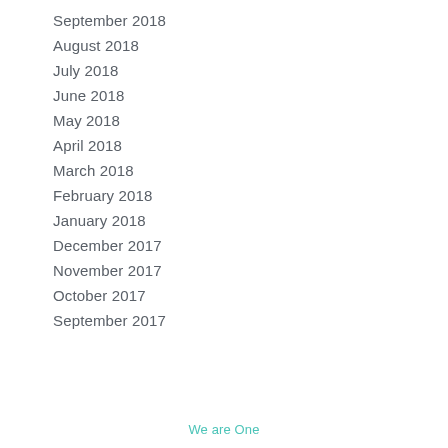September 2018
August 2018
July 2018
June 2018
May 2018
April 2018
March 2018
February 2018
January 2018
December 2017
November 2017
October 2017
September 2017
We are One